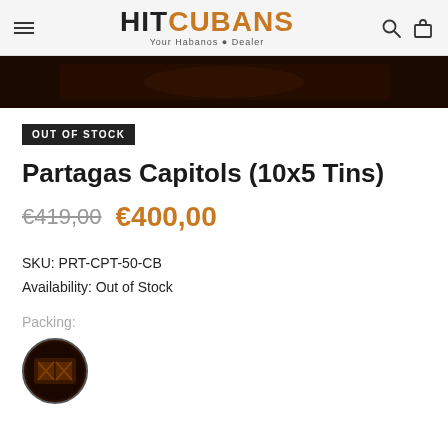HITCUBANS – Your Habanos Dealer
[Figure (photo): Dark product image strip showing cigar packaging in low light]
OUT OF STOCK
Partagas Capitols (10x5 Tins)
€419,00  €400,00
SKU: PRT-CPT-50-CB
Availability: Out of Stock
Packing:
[Figure (photo): Circular thumbnail image of cigar tin packing]